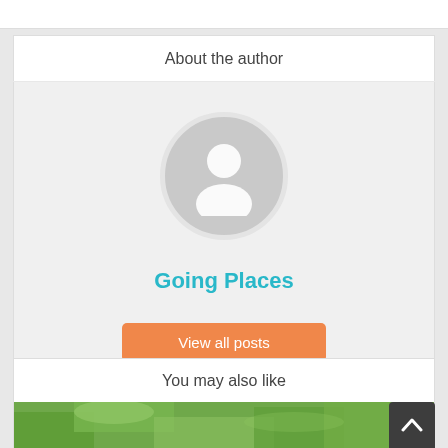About the author
[Figure (illustration): Default avatar placeholder: a grey circle with a white silhouette of a person (head and shoulders)]
Going Places
View all posts
You may also like
[Figure (photo): Partial photo of outdoor/garden scene, green leaves visible]